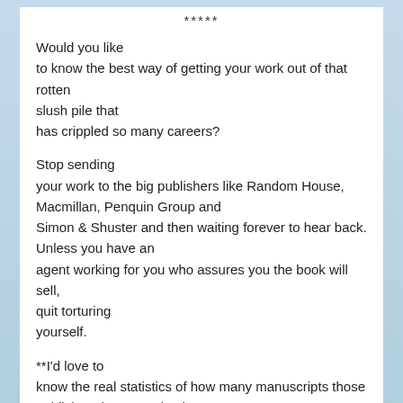*****
Would you like to know the best way of getting your work out of that rotten slush pile that has crippled so many careers?
Stop sending your work to the big publishers like Random House, Macmillan, Penquin Group and Simon & Shuster and then waiting forever to hear back. Unless you have an agent working for you who assures you the book will sell, quit torturing yourself.
**I'd love to know the real statistics of how many manuscripts those publishers have received over the last ten years and the percentage of contracts